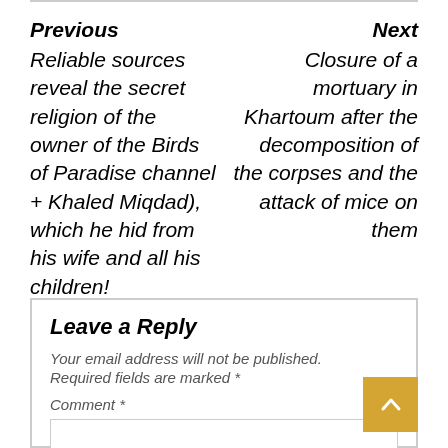Previous
Next
Reliable sources reveal the secret religion of the owner of the Birds of Paradise channel + Khaled Miqdad), which he hid from his wife and all his children!
Closure of a mortuary in Khartoum after the decomposition of the corpses and the attack of mice on them
Leave a Reply
Your email address will not be published.
Required fields are marked *
Comment *